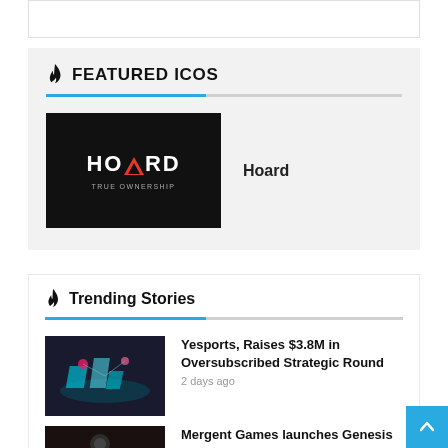FEATURED ICOs
[Figure (logo): Hoard logo — black background with HOARD text and triangle logo, tagline TRUE OWNERSHIP]
Hoard
Trending Stories
[Figure (illustration): Yesports article thumbnail — isometric blockchain/gaming illustration with teal and pink hues]
Yesports, Raises $3.8M in Oversubscribed Strategic Round
2 days ago
[Figure (photo): Mergent Games article thumbnail — dark background image]
Mergent Games launches Genesis 0